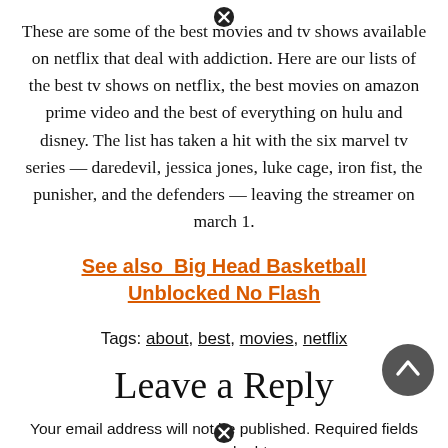These are some of the best movies and tv shows available on netflix that deal with addiction. Here are our lists of the best tv shows on netflix, the best movies on amazon prime video and the best of everything on hulu and disney. The list has taken a hit with the six marvel tv series — daredevil, jessica jones, luke cage, iron fist, the punisher, and the defenders — leaving the streamer on march 1.
See also  Big Head Basketball Unblocked No Flash
Tags: about, best, movies, netflix
Leave a Reply
Your email address will not be published. Required fields are marked *